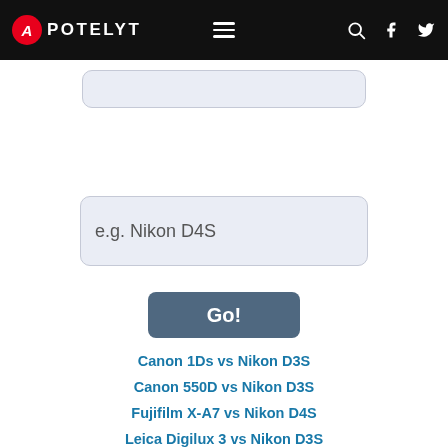APOTELYT
[Figure (screenshot): Partial search input box at top (cropped)]
[Figure (screenshot): Search input box with placeholder text 'e.g. Nikon D4S']
[Figure (screenshot): Go! button]
Canon 1Ds vs Nikon D3S
Canon 550D vs Nikon D3S
Fujifilm X-A7 vs Nikon D4S
Leica Digilux 3 vs Nikon D3S
Nikon D3S vs Nikon D800
Nikon D3S vs Nikon Z50